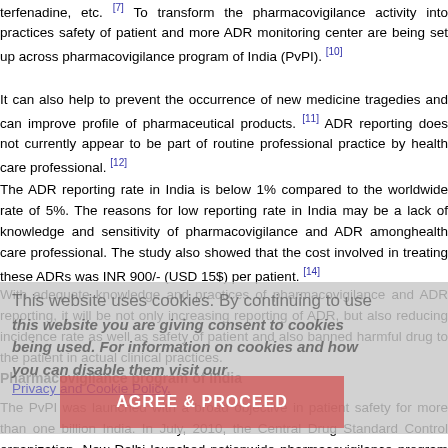terfenadine, etc. [7] To transform the pharmacovigilance activity into practices safety of patient and more ADR monitoring center are being set up across pharmacovigilance program of India (PvPI). [10]
It can also help to prevent the occurrence of new medicine tragedies and can improve profile of pharmaceutical products. [11] ADR reporting does not currently appear to be part of routine professional practice by health care professional. [12]
The ADR reporting rate in India is below 1% compared to the worldwide rate of 5%. The reasons for low reporting rate in India may be a lack of knowledge and sensitivity of pharmacovigilance and ADR amonghealth care professional. The study also showed that the cost involved in treating these ADRs was INR 900/- (USD 15$) per patient. [14]
With adequate knowledge and practices of pharmacovigilance and ADR reporting, it will be not only increasing reporting of ADR, but also reducing incidence rate as well as safety of patient and also banned harmful drug to the patient in actual clinical practices.
Pharmacovigilance program of India
The PvPI was launched with a broad objective in patient safety for more than one billion India. In July, 2010, the Central Drug Standard Control organization, New Delhi launched nationwide pharmacovigilance program under aegis of Ministry of health and family welfare Government of India with All India Institute of Medical Sciences (AIIMS), New Delhi as a National Coordinating Center (NCC) to monitor ADR. [15]